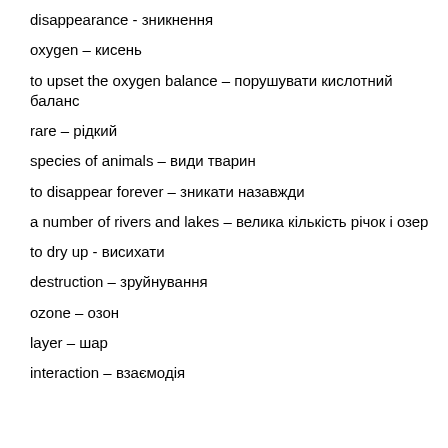disappearance - зникнення
oxygen – кисень
to upset the oxygen balance – порушувати кислотний баланс
rare – рідкий
species of animals – види тварин
to disappear forever – зникати назавжди
a number of rivers and lakes – велика кількість річок і озер
to dry up - висихати
destruction – зруйнування
ozone – озон
layer – шар
interaction – взаємодія